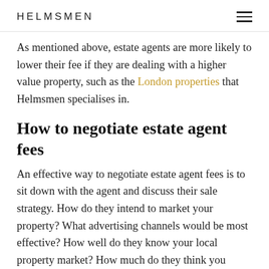HELMSMEN
As mentioned above, estate agents are more likely to lower their fee if they are dealing with a higher value property, such as the London properties that Helmsmen specialises in.
How to negotiate estate agent fees
An effective way to negotiate estate agent fees is to sit down with the agent and discuss their sale strategy. How do they intend to market your property? What advertising channels would be most effective? How well do they know your local property market? How much do they think you